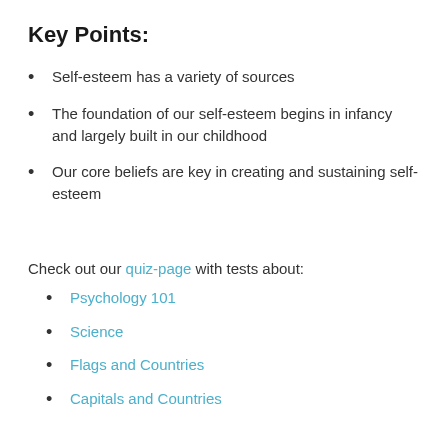Key Points:
Self-esteem has a variety of sources
The foundation of our self-esteem begins in infancy and largely built in our childhood
Our core beliefs are key in creating and sustaining self-esteem
Check out our quiz-page with tests about:
Psychology 101
Science
Flags and Countries
Capitals and Countries